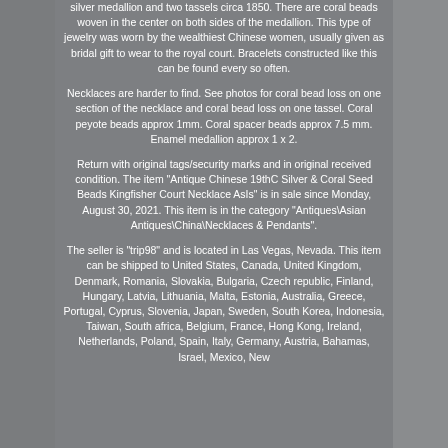silver medallion and two tassels circa 1850. There are coral beads woven in the center on both sides of the medallion. This type of jewelry was worn by the wealthiest Chinese women, usually given as bridal gift to wear to the royal court. Bracelets constructed like this can be found every so often.
Necklaces are harder to find. See photos for coral bead loss on one section of the necklace and coral bead loss on one tassel. Coral peyote beads approx 1mm. Coral spacer beads approx 7.5 mm. Enamel medallion approx 1 x 2.
Return with original tags/security marks and in original received condition. The item "Antique Chinese 19thC Silver & Coral Seed Beads Kingfisher Court Necklace AsIs" is in sale since Monday, August 30, 2021. This item is in the category "Antiques\Asian Antiques\China\Necklaces & Pendants".
The seller is "trip98" and is located in Las Vegas, Nevada. This item can be shipped to United States, Canada, United Kingdom, Denmark, Romania, Slovakia, Bulgaria, Czech republic, Finland, Hungary, Latvia, Lithuania, Malta, Estonia, Australia, Greece, Portugal, Cyprus, Slovenia, Japan, Sweden, South Korea, Indonesia, Taiwan, South africa, Belgium, France, Hong Kong, Ireland, Netherlands, Poland, Spain, Italy, Germany, Austria, Bahamas, Israel, Mexico, New